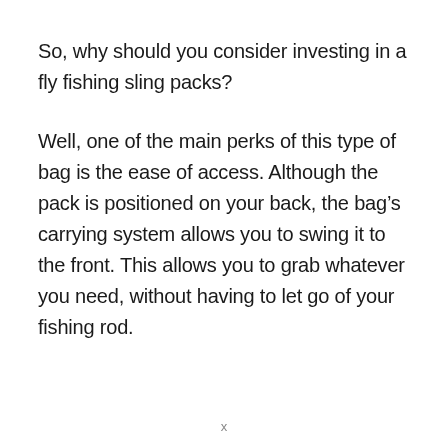So, why should you consider investing in a fly fishing sling packs?
Well, one of the main perks of this type of bag is the ease of access. Although the pack is positioned on your back, the bag’s carrying system allows you to swing it to the front. This allows you to grab whatever you need, without having to let go of your fishing rod.
x